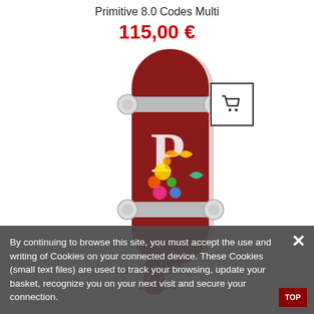Primitive 8.0 Codes Multi
115,00 €
[Figure (photo): Dark red/maroon complete skateboard with white Primitive 'P' logo graphic with colorful butterflies and flowers on the deck, white trucks and wheels.]
[Figure (photo): Shopping cart icon in a bordered square box.]
Primitive Dirty P Colony 7.75
115,00 €
By continuing to browse this site, you must accept the use and writing of Cookies on your connected device. These Cookies (small text files) are used to track your browsing, update your basket, recognize you on your next visit and secure your connection.